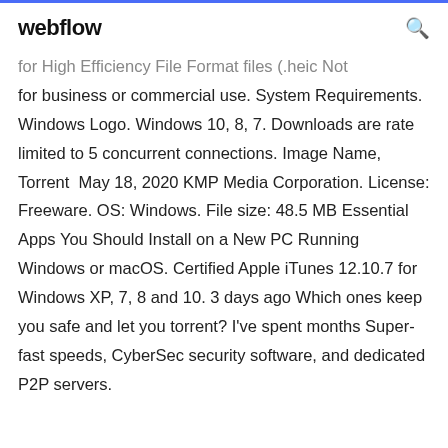webflow
for High Efficiency File Format files (.heic Not for business or commercial use. System Requirements. Windows Logo. Windows 10, 8, 7. Downloads are rate limited to 5 concurrent connections. Image Name, Torrent  May 18, 2020 KMP Media Corporation. License: Freeware. OS: Windows. File size: 48.5 MB Essential Apps You Should Install on a New PC Running Windows or macOS. Certified Apple iTunes 12.10.7 for Windows XP, 7, 8 and 10. 3 days ago Which ones keep you safe and let you torrent? I've spent months Super-fast speeds, CyberSec security software, and dedicated P2P servers.